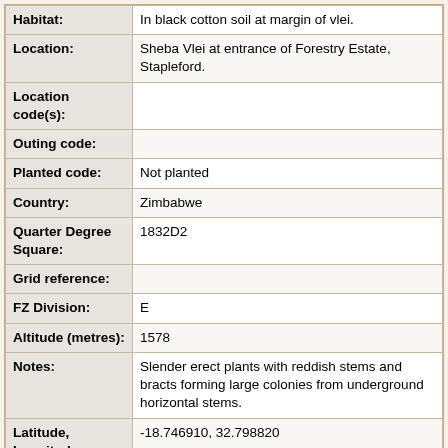| Field | Value |
| --- | --- |
| Habitat: | In black cotton soil at margin of vlei. |
| Location: | Sheba Vlei at entrance of Forestry Estate, Stapleford. |
| Location code(s): |  |
| Outing code: |  |
| Planted code: | Not planted |
| Country: | Zimbabwe |
| Quarter Degree Square: | 1832D2 |
| Grid reference: |  |
| FZ Division: | E |
| Altitude (metres): | 1578 |
| Notes: | Slender erect plants with reddish stems and bracts forming large colonies from underground horizontal stems. |
| Latitude, Longitude: | -18.746910, 32.798820 |
| Location Accuracy | 7 |